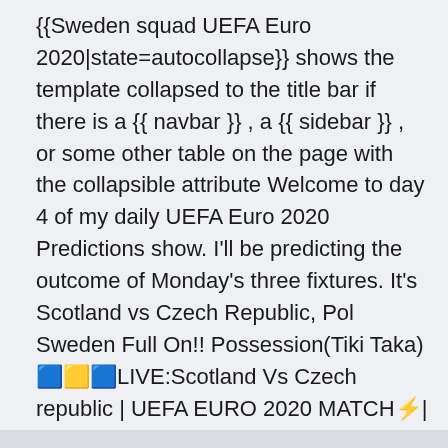{{Sweden squad UEFA Euro 2020|state=autocollapse}} shows the template collapsed to the title bar if there is a {{ navbar }} , a {{ sidebar }} , or some other table on the page with the collapsible attribute Welcome to day 4 of my daily UEFA Euro 2020 Predictions show. I'll be predicting the outcome of Monday's three fixtures. It's Scotland vs Czech Republic, Pol Sweden Full On!! Possession(Tiki Taka)🟦🟨🟦LIVE:Scotland Vs Czech republic | UEFA EURO 2020 MATCH⚡| Ft.FIFA21Do Rate The Goal ☑ Let's OUTPLAY Them ALL!😎?